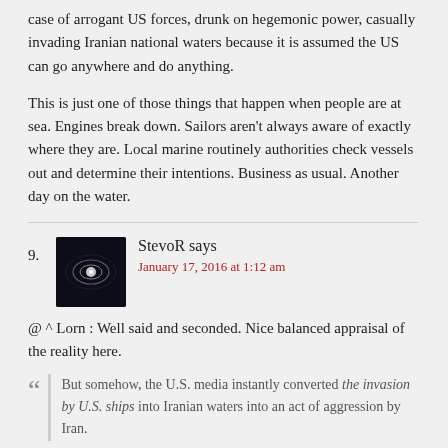case of arrogant US forces, drunk on hegemonic power, casually invading Iranian national waters because it is assumed the US can go anywhere and do anything.
This is just one of those things that happen when people are at sea. Engines break down. Sailors aren't always aware of exactly where they are. Local marine routinely authorities check vessels out and determine their intentions. Business as usual. Another day on the water.
StevoR says
January 17, 2016 at 1:12 am
@ ^ Lorn : Well said and seconded. Nice balanced appraisal of the reality here.
But somehow, the U.S. media instantly converted the invasion by U.S. ships into Iranian waters into an act of aggression by Iran.